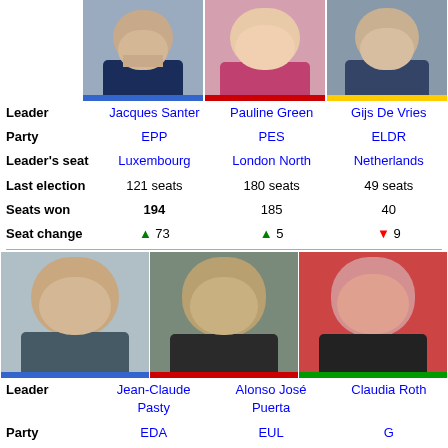[Figure (photo): Photo of Jacques Santer]
[Figure (photo): Photo of Pauline Green]
[Figure (photo): Photo of Gijs De Vries]
|  | Jacques Santer / EPP | Pauline Green / PES | Gijs De Vries / ELDR |
| --- | --- | --- | --- |
| Leader | Jacques Santer | Pauline Green | Gijs De Vries |
| Party | EPP | PES | ELDR |
| Leader's seat | Luxembourg | London North | Netherlands |
| Last election | 121 seats | 180 seats | 49 seats |
| Seats won | 194 | 185 | 40 |
| Seat change | ▲ 73 | ▲ 5 | ▼ 9 |
[Figure (photo): Photo of Jean-Claude Pasty]
[Figure (photo): Photo of Alonso José Puerta]
[Figure (photo): Photo of Claudia Roth]
|  | Jean-Claude Pasty / EDA | Alonso José Puerta / EUL | Claudia Roth / G |
| --- | --- | --- | --- |
| Leader | Jean-Claude Pasty | Alonso José Puerta | Claudia Roth |
| Party | EDA | EUL | G |
| Leader's seat | Pays de la Loire | Madrid | Germany |
| Last election | 20 seats | 42 seats | 30 seats |